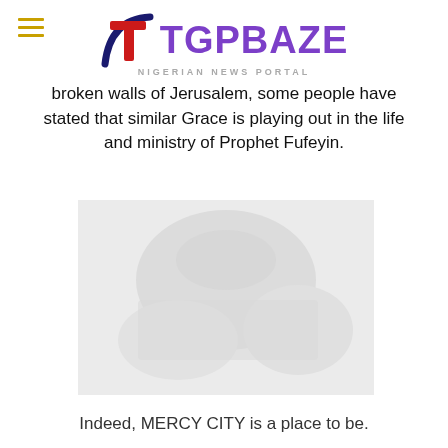TGPBAZE — Nigerian News Portal
broken walls of Jerusalem, some people have stated that similar Grace is playing out in the life and ministry of Prophet Fufeyin.
[Figure (photo): A faded/blurred photograph placeholder, light gray background representing an image of Mercy City or related ministry scene.]
Indeed, MERCY CITY is a place to be.